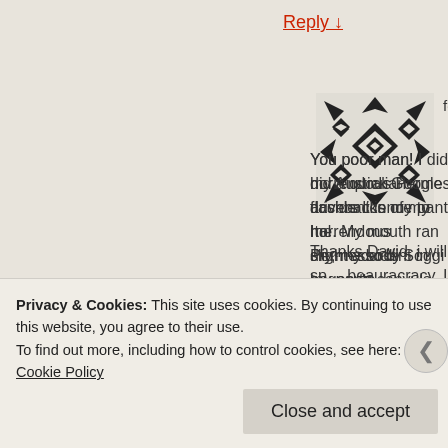Reply ↓
foxemerson on September 23, 201…
[Figure (illustration): Black and white geometric avatar/icon with diamond and arrow pattern]
You poor man! I did a quick Google… my Australian drivers licence to Ital… flashbacks of my horrendous Permesso di Soggi… me. My mouth ran dry, my body began to convuls… slight accident in my pants.
Thanks David, i will NOT be going for my italian d… me 600 euro and a LOT of time that I refuse to sp… beauracracy. In fact, I'm lucky that I've managed… and do it in another European country, then I'll ha…
Privacy & Cookies: This site uses cookies. By continuing to use this website, you agree to their use.
To find out more, including how to control cookies, see here: Cookie Policy
Close and accept